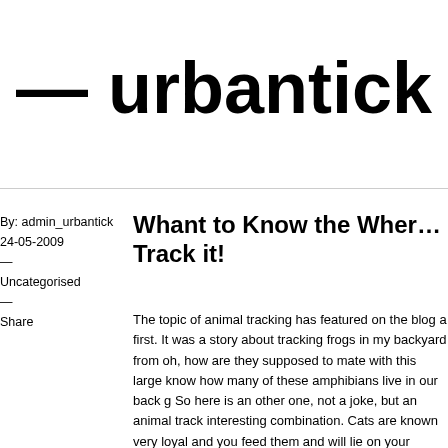— urbantick
By: admin_urbantick
24-05-2009
—
Uncategorised
—
Share
Whant to Know the Where... Track it!
The topic of animal tracking has featured on the blog a first. It was a story about tracking frogs in my backyard from oh, how are they supposed to mate with this large know how many of these amphibians live in our back g So here is an other one, not a joke, but an animal track interesting combination. Cats are known very loyal and you feed them and will lie on your computer keyboard this cuddly animal. It is a hunter and predator, kills and strolling around. This second side we, as pet holder kn